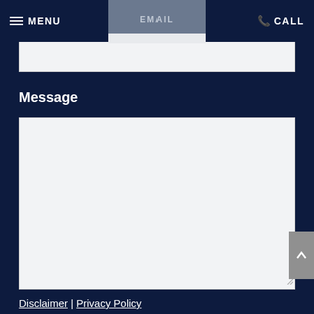MENU | EMAIL | CALL
Message
Disclaimer | Privacy Policy
I Have Read The Disclaimer *